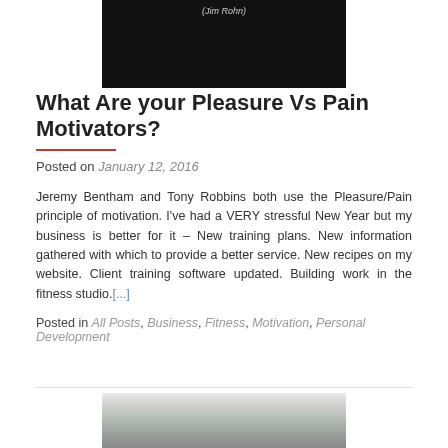[Figure (photo): Dark/black background image with text '(Jim Rohn)' visible at top center in gray italic font]
What Are your Pleasure Vs Pain Motivators?
Posted on January 12, 2016
Jeremy Bentham and Tony Robbins both use the Pleasure/Pain principle of motivation. I've had a VERY stressful New Year but my business is better for it – New training plans. New information gathered with which to provide a better service. New recipes on my website. Client training software updated. Building work in the fitness studio.[...]
Posted in All Posts, Business, Fitness, Motivation, Personal Development
[Figure (photo): Partial image at bottom of page, appears to show a winter outdoor scene]